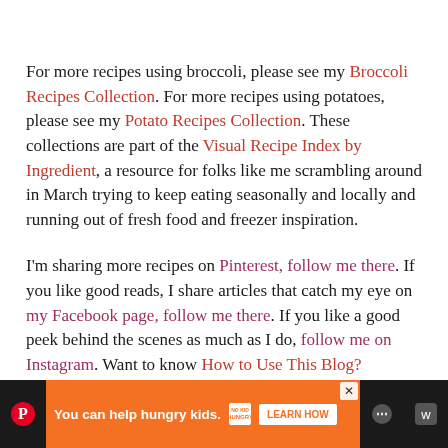For more recipes using broccoli, please see my Broccoli Recipes Collection. For more recipes using potatoes, please see my Potato Recipes Collection. These collections are part of the Visual Recipe Index by Ingredient, a resource for folks like me scrambling around in March trying to keep eating seasonally and locally and running out of fresh food and freezer inspiration.
I'm sharing more recipes on Pinterest, follow me there. If you like good reads, I share articles that catch my eye on my Facebook page, follow me there. If you like a good peek behind the scenes as much as I do, follow me on Instagram. Want to know How to Use This Blog?
[Figure (other): Teal circular heart button (save/favorite button)]
[Figure (other): White circular share button with share icon]
[Figure (other): Advertisement banner: orange background with 'You can help hungry kids.' No Kid Hungry logo and LEARN HOW button. Dark side panels with Pinterest and other social icons.]